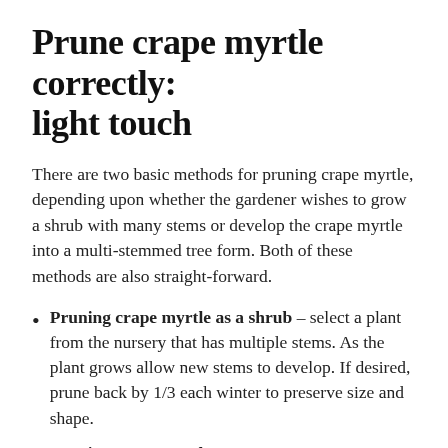Prune crape myrtle correctly: light touch
There are two basic methods for pruning crape myrtle, depending upon whether the gardener wishes to grow a shrub with many stems or develop the crape myrtle into a multi-stemmed tree form. Both of these methods are also straight-forward.
Pruning crape myrtle as a shrub – select a plant from the nursery that has multiple stems. As the plant grows allow new stems to develop. If desired, prune back by 1/3 each winter to preserve size and shape.
Pruning crape myrtle as a tree. For a new crape myrtle, prune all but three to five trunks off at ground level. Yearly maintenance should include removing branches that rub or cross.